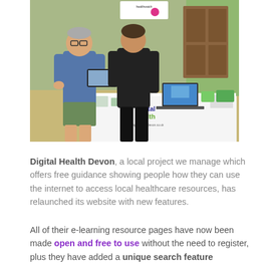[Figure (photo): Two people at a Digital Health Devon exhibition stand. An older man in a blue shirt examines a tablet device, while a younger person in a black polo shirt assists him. Behind them is a table with a laptop and promotional materials, and a banner reading 'Digital Health' with the website www.digitalhealthdevon.co.uk.]
Digital Health Devon, a local project we manage which offers free guidance showing people how they can use the internet to access local healthcare resources, has relaunched its website with new features.
All of their e-learning resource pages have now been made open and free to use without the need to register, plus they have added a unique search feature